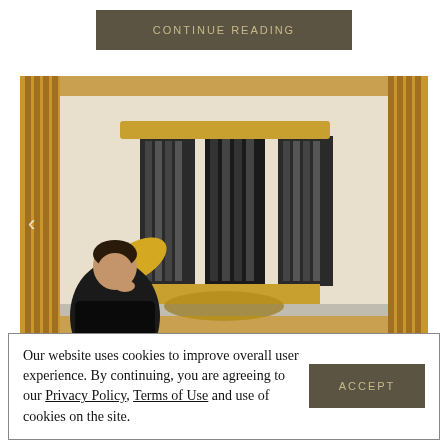CONTINUE READING
[Figure (photo): A person sitting in front of a large painting/artwork depicting Marina Bay Sands in Singapore, with golden vertical slat walls in the background. The person is dressed in black and has curly hair, smiling at the camera.]
Our website uses cookies to improve overall user experience. By continuing, you are agreeing to our Privacy Policy, Terms of Use and use of cookies on the site.